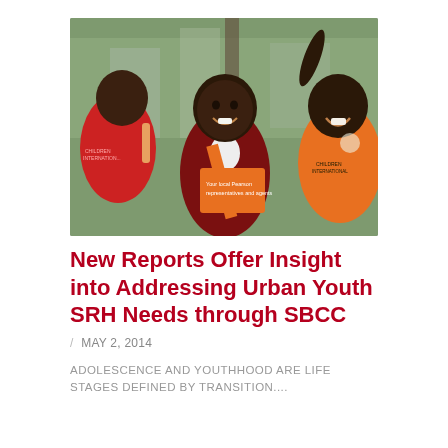[Figure (photo): A group of African children smiling. The central child is wearing a school uniform (maroon and white) and holding an orange Pearson brochure that reads 'Your local Pearson representatives and agents'. Children in the background wear orange shirts reading 'Children International'. Urban outdoor setting.]
New Reports Offer Insight into Addressing Urban Youth SRH Needs through SBCC
/ MAY 2, 2014
ADOLESCENCE AND YOUTHHOOD ARE LIFE STAGES DEFINED BY TRANSITION....